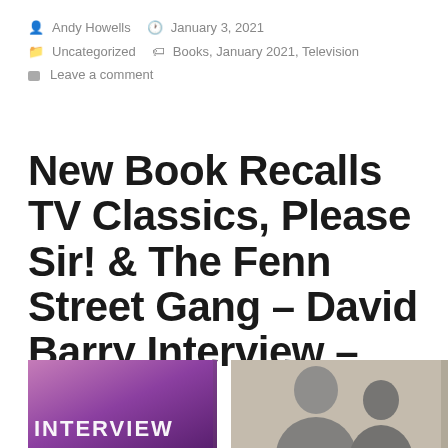By Andy Howells   January 3, 2021
Uncategorized   Books, January 2021, Television
Leave a comment
New Book Recalls TV Classics, Please Sir! & The Fenn Street Gang – David Barry Interview – Part 2
[Figure (photo): Two images at the bottom: left image shows a purple/pink 'INTERVIEW' graphic, right image shows a black and white photo of a person]